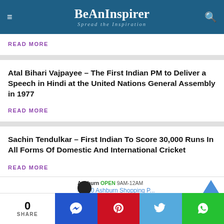BeAnInspirer – Spread the Inspiration
READ MORE
Atal Bihari Vajpayee – The First Indian PM to Deliver a Speech in Hindi at the United Nations General Assembly in 1977
READ MORE
Sachin Tendulkar – First Indian To Score 30,000 Runs In All Forms Of Domestic And International Cricket
READ MORE
Ashburn OPEN 9AM-12AM 44110 Ashburn Shopping P...
0 SHARE